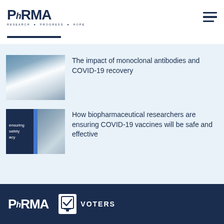[Figure (logo): PhRMA logo with tagline RESEARCH · PROGRESS · HOPE in dark navy blue]
[Figure (photo): Scientist in lab coat and mask looking through a microscope]
The impact of monoclonal antibodies and COVID-19 recovery
[Figure (photo): Dark navy background with text 'ensuring safety acy' and blue stripe with gloved hand holding syringe]
How biopharmaceutical researchers are ensuring COVID-19 vaccines will be safe and effective
[Figure (logo): PhRMA logo in white on dark navy footer]
[Figure (logo): Voters for Cures logo with checkmark icon in white on dark navy footer]